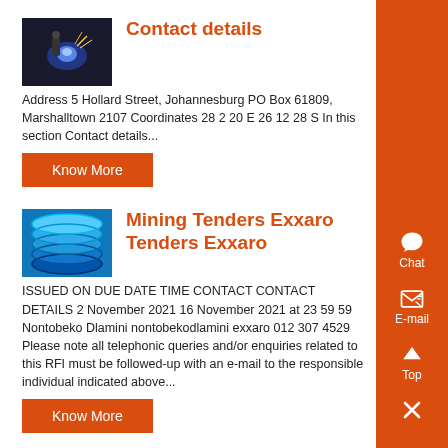[Figure (photo): Industrial welding or blue-light manufacturing scene]
Contact details
Address 5 Hollard Street, Johannesburg PO Box 61809, Marshalltown 2107 Coordinates 28 2 20 E 26 12 28 S In this section Contact details...
Know More
[Figure (photo): Blue industrial coiled/spring parts stacked]
Mining Tenders Exxaro Tenders Exxaro
ISSUED ON DUE DATE TIME CONTACT CONTACT DETAILS 2 November 2021 16 November 2021 at 23 59 59 Nontobeko Dlamini nontobekodlamini exxaro 012 307 4529 Please note all telephonic queries and/or enquiries related to this RFI must be followed-up with an e-mail to the responsible individual indicated above...
Know More